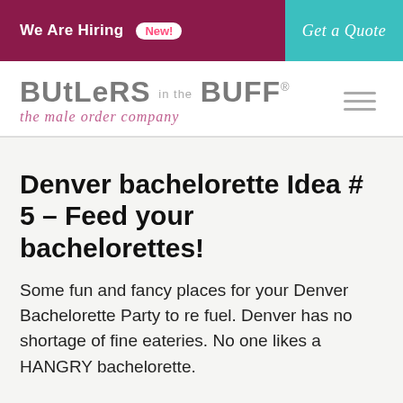We Are Hiring  New!   Get a Quote
[Figure (logo): Butlers in the Buff – the male order company logo with hamburger menu icon]
Denver bachelorette Idea # 5 – Feed your bachelorettes!
Some fun and fancy places for your Denver Bachelorette Party to re fuel. Denver has no shortage of fine eateries. No one likes a HANGRY bachelorette.